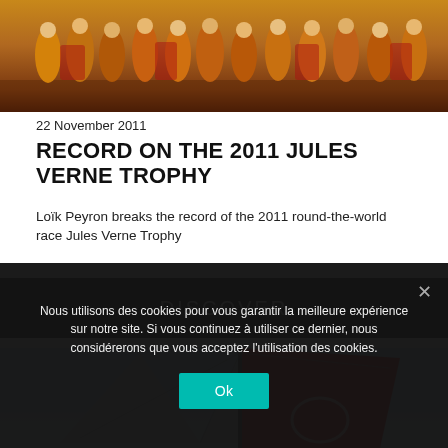[Figure (photo): Group photo of people wearing yellow and red outfits standing on what appears to be a sports court or outdoor area]
22 November 2011
RECORD ON THE 2011 JULES VERNE TROPHY
Loïk Peyron breaks the record of the 2011 round-the-world race Jules Verne Trophy
DISCOVER
[Figure (photo): Sailing boat with white and red sails against a sky background]
Nous utilisons des cookies pour vous garantir la meilleure expérience sur notre site. Si vous continuez à utiliser ce dernier, nous considérerons que vous acceptez l'utilisation des cookies.